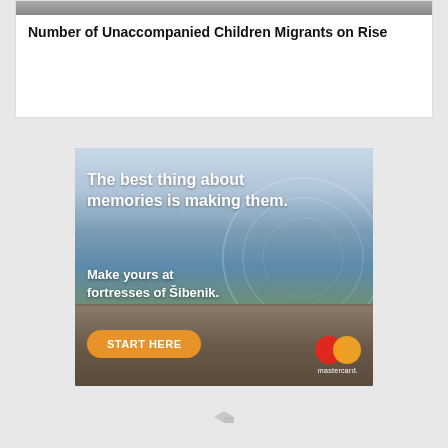Number of Unaccompanied Children Migrants on Rise
[Figure (photo): Mastercard advertisement banner featuring a couple at a fortress viewpoint with scenic cliffs and water. Text reads: 'The best thing about memories is making them. Make yours at fortresses of Šibenik. START HERE' with Mastercard logo.]